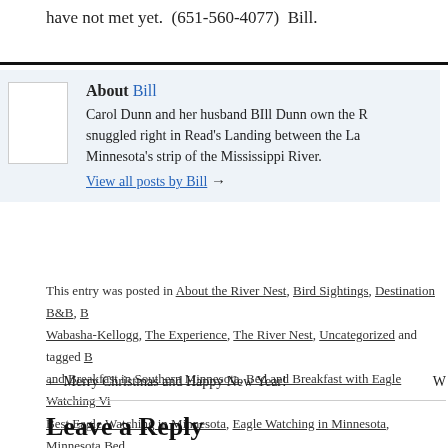have not met yet.  (651-560-4077)  Bill.
About Bill
Carol Dunn and her husband BIll Dunn own the R snuggled right in Read's Landing between the La Minnesota's strip of the Mississippi River.
View all posts by Bill →
This entry was posted in About the River Nest, Bird Sightings, Destination B&B, B Wabasha-Kellogg, The Experience, The River Nest, Uncategorized and tagged B and Breakfast in Southern Minnesota, Bed and Breakfast with Eagle Watching Vi Best Eagle Watching in Minnesota, Eagle Watching in Minnesota, Minnesota Bed Breakfast in Minnesota, Romantic Bed and Breakfasts in southern MN, The best Stay in Wabasha MN. Bookmark the permalink.
← Merry Christmas and Happy New Year!
Leave a Reply